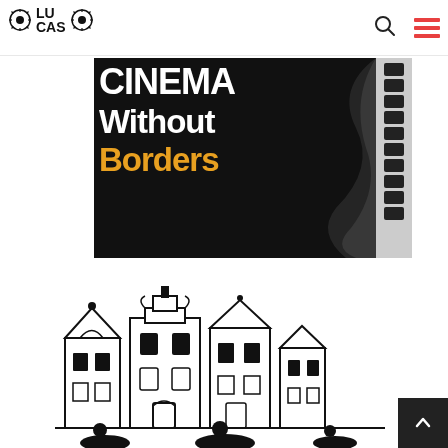LUCAS — Cinema Without Borders website header with logo, search icon, and navigation menu
[Figure (illustration): Cinema Without Borders banner image: bold white and yellow text on black background with film strip on right edge reading 'Cinema Without Borders', smoke/swirl graphic on right side]
[Figure (illustration): Black and white ink illustration of European-style canal houses / buildings, stylized graphic art]